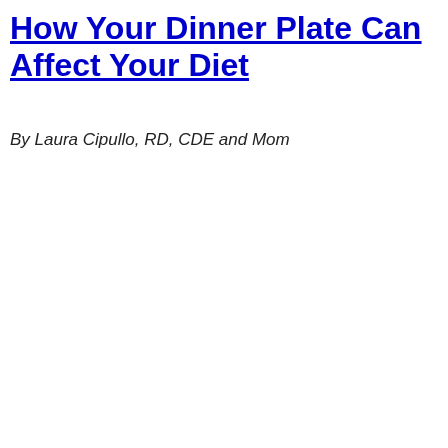How Your Dinner Plate Can Affect Your Diet
By Laura Cipullo, RD, CDE and Mom